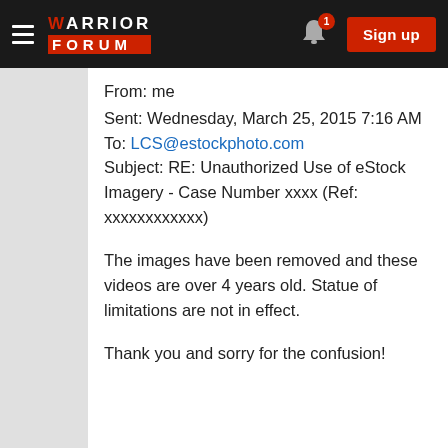[Figure (logo): Warrior Forum logo and navigation bar with hamburger menu, bell notification icon with badge showing 1, and red Sign up button]
From: me
Sent: Wednesday, March 25, 2015 7:16 AM
To: LCS@estockphoto.com
Subject: RE: Unauthorized Use of eStock Imagery - Case Number xxxx (Ref: xxxxxxxxxxxx)
The images have been removed and these videos are over 4 years old. Statue of limitations are not in effect.
Thank you and sorry for the confusion!